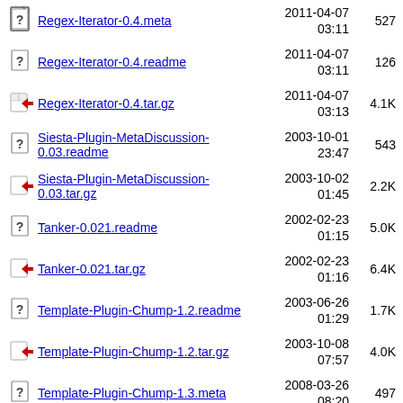Regex-Iterator-0.4.meta  2011-04-07 03:11  527
Regex-Iterator-0.4.readme  2011-04-07 03:11  126
Regex-Iterator-0.4.tar.gz  2011-04-07 03:13  4.1K
Siesta-Plugin-MetaDiscussion-0.03.readme  2003-10-01 23:47  543
Siesta-Plugin-MetaDiscussion-0.03.tar.gz  2003-10-02 01:45  2.2K
Tanker-0.021.readme  2002-02-23 01:15  5.0K
Tanker-0.021.tar.gz  2002-02-23 01:16  6.4K
Template-Plugin-Chump-1.2.readme  2003-06-26 01:29  1.7K
Template-Plugin-Chump-1.2.tar.gz  2003-10-08 07:57  4.0K
Template-Plugin-Chump-1.3.meta  2008-03-26 08:20  497
Template-Plugin-Chump-1.3.readme  2007-08-13 01:59  1.7K